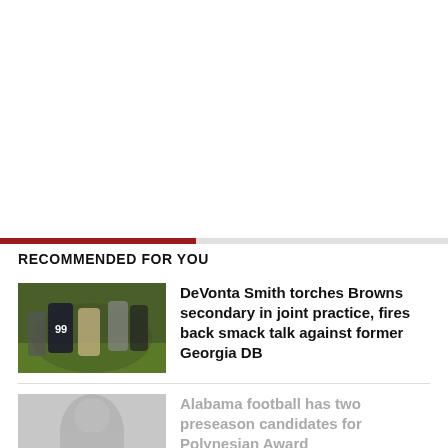RECOMMENDED FOR YOU
DeVonta Smith torches Browns secondary in joint practice, fires back smack talk against former Georgia DB
[Figure (photo): Football players on field during game/practice, player number 99 visible]
Alabama football has two preseason candidates for Polynesian Award
[Figure (photo): Faded/greyed out football player photo]